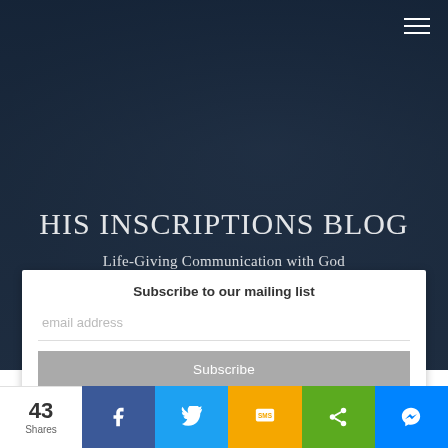[Figure (screenshot): Dark navy hero image with blurred open Bible book background]
HIS INSCRIPTIONS BLOG
Life-Giving Communication with God
Subscribe to our mailing list
email address
Subscribe
43 Shares